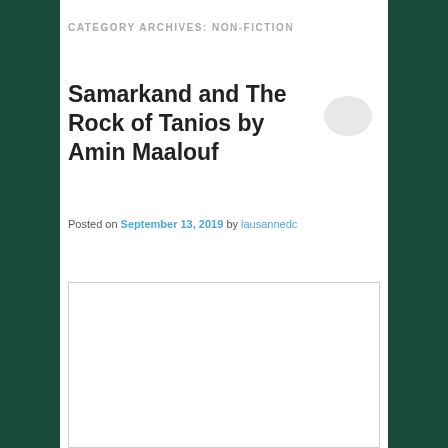CATEGORY ARCHIVES: NON-FICTION
Samarkand and The Rock of Tanios by Amin Maalouf
Posted on September 13, 2019 by lausannedc
[Figure (photo): Empty white image placeholder with light gray border]